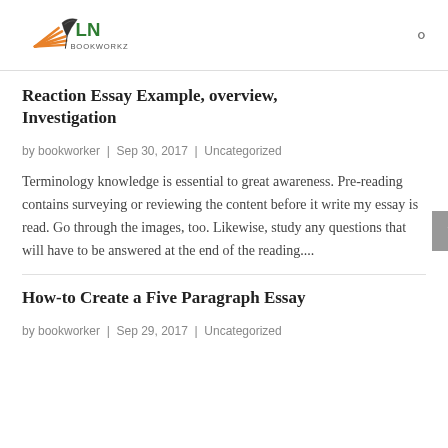LN BOOKWORKZ
Reaction Essay Example, overview, Investigation
by bookworker | Sep 30, 2017 | Uncategorized
Terminology knowledge is essential to great awareness. Pre-reading contains surveying or reviewing the content before it write my essay is read. Go through the images, too. Likewise, study any questions that will have to be answered at the end of the reading....
How-to Create a Five Paragraph Essay
by bookworker | Sep 29, 2017 | Uncategorized